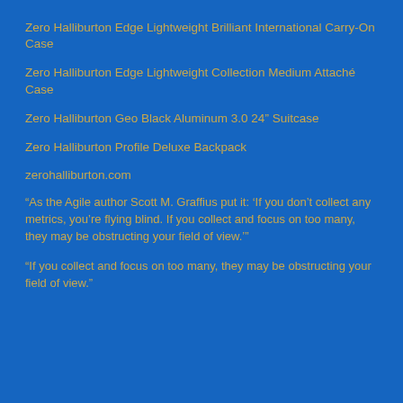Zero Halliburton Edge Lightweight Brilliant International Carry-On Case
Zero Halliburton Edge Lightweight Collection Medium Attaché Case
Zero Halliburton Geo Black Aluminum 3.0 24” Suitcase
Zero Halliburton Profile Deluxe Backpack
zerohalliburton.com
“As the Agile author Scott M. Graffius put it: ‘If you don’t collect any metrics, you’re flying blind. If you collect and focus on too many, they may be obstructing your field of view.’”
“If you collect and focus on too many, they may be obstructing your field of view.”